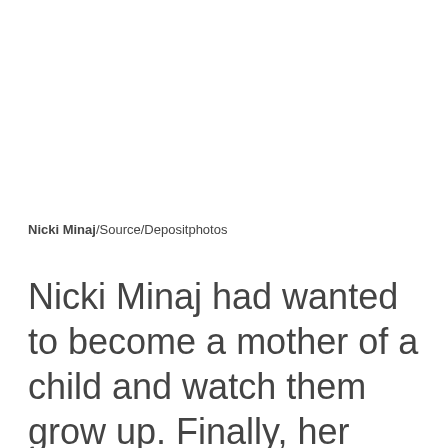Nicki Minaj/Source/Depositphotos
Nicki Minaj had wanted to become a mother of a child and watch them grow up. Finally, her dreams came true! She